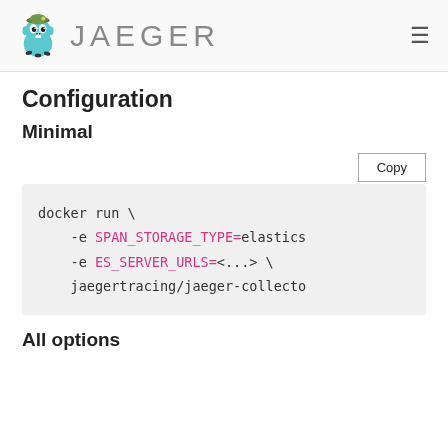JAEGER
Configuration
Minimal
docker run \
    -e SPAN_STORAGE_TYPE=elastics
    -e ES_SERVER_URLS=<...> \
    jaegertracing/jaeger-collecto
All options